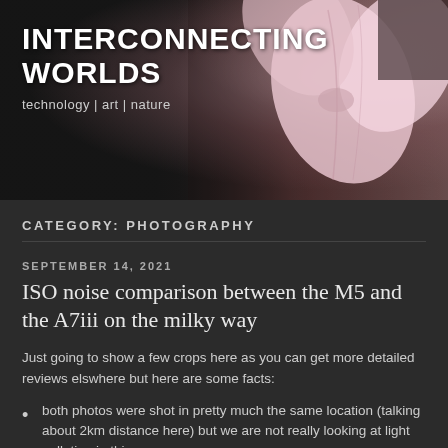[Figure (photo): Blog header banner with large bold text 'INTERCONNECTING WORLDS' and subtitle 'technology | art | nature' on a dark background with a pink magnolia flower on the right side.]
CATEGORY: PHOTOGRAPHY
SEPTEMBER 14, 2021
ISO noise comparison between the M5 and the A7iii on the milky way
Just going to show a few crops here as you can get more detailed reviews elswhere but here are some facts:
both photos were shot in pretty much the same location (talking about 2km distance here) but we are not really looking at light pollution in this case